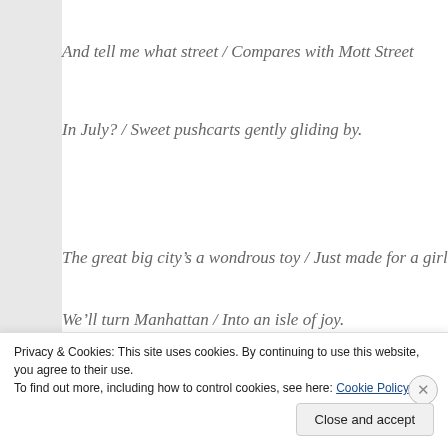And tell me what street / Compares with Mott Street
In July? / Sweet pushcarts gently gliding by.
The great big city's a wondrous toy / Just made for a girl
We'll turn Manhattan / Into an isle of joy.
We'll go to Yonkers, / Where true love conquers
Privacy & Cookies: This site uses cookies. By continuing to use this website, you agree to their use. To find out more, including how to control cookies, see here: Cookie Policy
Close and accept